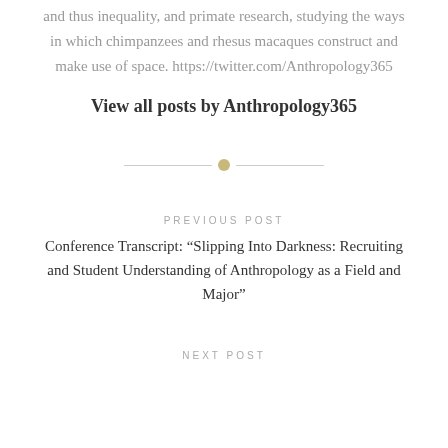and thus inequality, and primate research, studying the ways in which chimpanzees and rhesus macaques construct and make use of space. https://twitter.com/Anthropology365
View all posts by Anthropology365
PREVIOUS POST
Conference Transcript: “Slipping Into Darkness: Recruiting and Student Understanding of Anthropology as a Field and Major”
NEXT POST